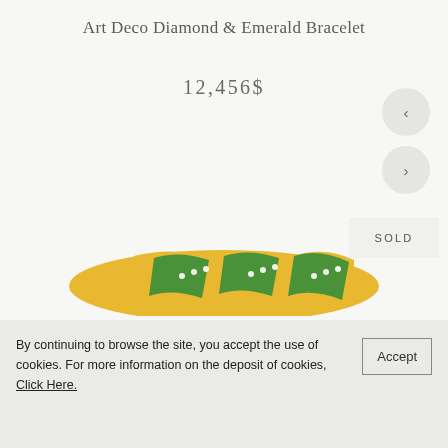Art Deco Diamond & Emerald Bracelet
12,456$
[Figure (photo): Close-up photo of an Art Deco bracelet with green enamel and diamond accents on yellow gold]
SOLD
By continuing to browse the site, you accept the use of cookies. For more information on the deposit of cookies, Click Here.
Accept